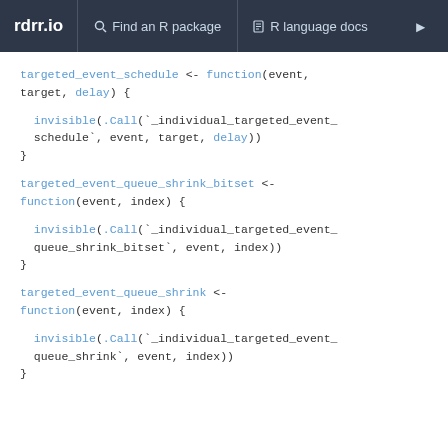rdrr.io   Find an R package   R language docs
targeted_event_schedule <- function(event, target, delay) {

  invisible(.Call(`_individual_targeted_event_schedule`, event, target, delay))
}
targeted_event_queue_shrink_bitset <- function(event, index) {

  invisible(.Call(`_individual_targeted_event_queue_shrink_bitset`, event, index))
}
targeted_event_queue_shrink <- function(event, index) {

  invisible(.Call(`_individual_targeted_event_queue_shrink`, event, index))
}